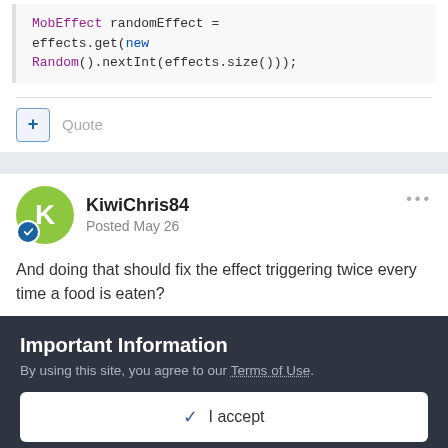[Figure (screenshot): Code block showing Java/Minecraft code: 'MobEffect randomEffect = effects.get(new Random().nextInt(effects.size()));']
Quote
KiwiChris84
Posted May 26
And doing that should fix the effect triggering twice every time a food is eaten?
Important Information
By using this site, you agree to our Terms of Use.
✓  I accept